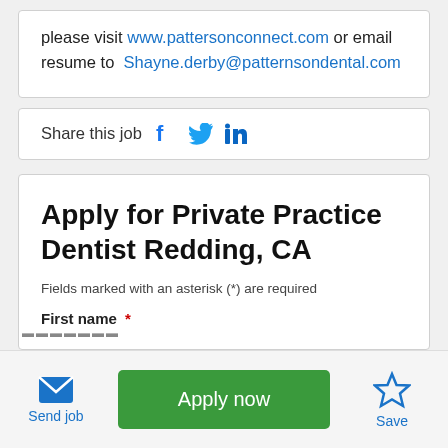please visit www.pattersonconnect.com or email resume to Shayne.derby@patternsondental.com
Share this job
Apply for Private Practice Dentist Redding, CA
Fields marked with an asterisk (*) are required
First name *
Send job
Apply now
Save